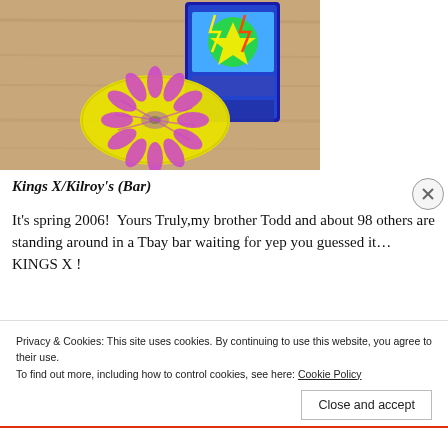[Figure (photo): Photo of a CD with yellow and pink/purple decorative pattern design lying on a wooden surface, with a trading card (appears to be Yu-Gi-Oh style) leaning against a wall in the background.]
Kings X/Kilroy's (Bar)
It’s spring 2006!  Yours Truly,my brother Todd and about 98 others are standing around in a Tbay bar waiting for yep you guessed it…KINGS X !
Privacy & Cookies: This site uses cookies. By continuing to use this website, you agree to their use.
To find out more, including how to control cookies, see here: Cookie Policy
Close and accept